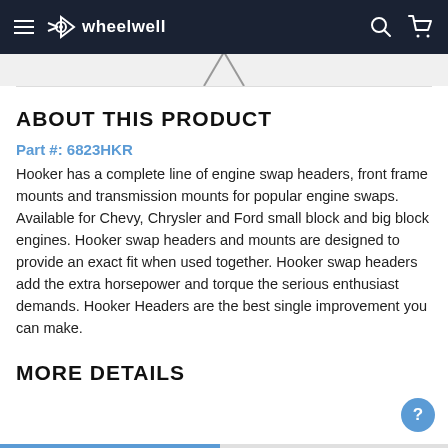wheelwell
ABOUT THIS PRODUCT
Part #: 6823HKR
Hooker has a complete line of engine swap headers, front frame mounts and transmission mounts for popular engine swaps. Available for Chevy, Chrysler and Ford small block and big block engines. Hooker swap headers and mounts are designed to provide an exact fit when used together. Hooker swap headers add the extra horsepower and torque the serious enthusiast demands. Hooker Headers are the best single improvement you can make.
MORE DETAILS